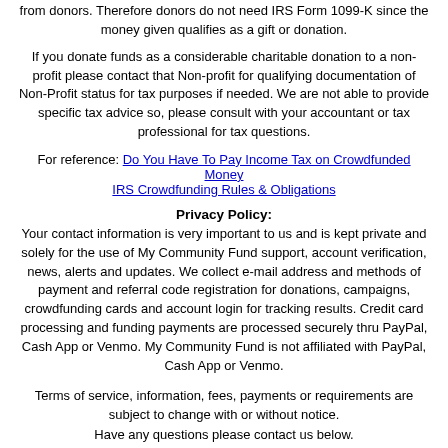from donors. Therefore donors do not need IRS Form 1099-K since the money given qualifies as a gift or donation.
If you donate funds as a considerable charitable donation to a non-profit please contact that Non-profit for qualifying documentation of Non-Profit status for tax purposes if needed. We are not able to provide specific tax advice so, please consult with your accountant or tax professional for tax questions.
For reference: Do You Have To Pay Income Tax on Crowdfunded Money
IRS Crowdfunding Rules & Obligations
Privacy Policy:
Your contact information is very important to us and is kept private and solely for the use of My Community Fund support, account verification, news, alerts and updates. We collect e-mail address and methods of payment and referral code registration for donations, campaigns, crowdfunding cards and account login for tracking results. Credit card processing and funding payments are processed securely thru PayPal, Cash App or Venmo. My Community Fund is not affiliated with PayPal, Cash App or Venmo.
Terms of service, information, fees, payments or requirements are subject to change with or without notice.
Have any questions please contact us below.